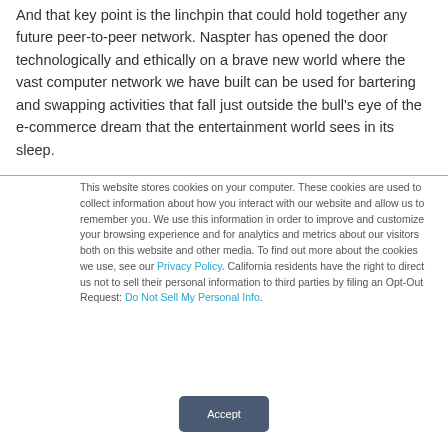And that key point is the linchpin that could hold together any future peer-to-peer network. Naspter has opened the door technologically and ethically on a brave new world where the vast computer network we have built can be used for bartering and swapping activities that fall just outside the bull's eye of the e-commerce dream that the entertainment world sees in its sleep.
This website stores cookies on your computer. These cookies are used to collect information about how you interact with our website and allow us to remember you. We use this information in order to improve and customize your browsing experience and for analytics and metrics about our visitors both on this website and other media. To find out more about the cookies we use, see our Privacy Policy. California residents have the right to direct us not to sell their personal information to third parties by filing an Opt-Out Request: Do Not Sell My Personal Info.
Accept